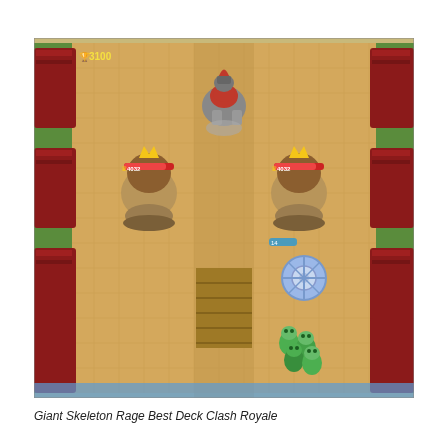[Figure (screenshot): A screenshot from the mobile game Clash Royale showing a top-down arena view. Two large armored characters (Giant Skeletons) are visible on the left and right sides of the arena with health bars showing '4032'. A knight character is at the top center. A blue spinning bone/wheel character is in the lower right area with a health indicator '14'. A group of small green golem-like creatures appear at the bottom right. The arena has a tan/sandy tile floor, red tents or structures on the sides, a central bridge/lane, and green grass edges. A trophy icon and score '3100' appear in the top left corner.]
Giant Skeleton Rage Best Deck Clash Royale